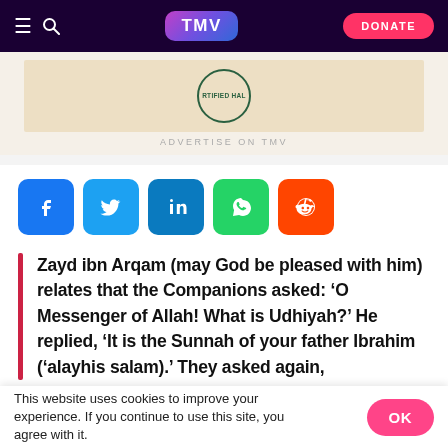TMV — navigation bar with hamburger, search, TMV logo, DONATE button
[Figure (other): Advertisement banner with halal certification stamp on beige background]
ADVERTISE ON TMV
[Figure (other): Social share buttons row: Facebook, Twitter, LinkedIn, WhatsApp, Reddit]
Zayd ibn Arqam (may God be pleased with him) relates that the Companions asked: 'O Messenger of Allah! What is Udhiyah?' He replied, 'It is the Sunnah of your father Ibrahim ('alayhis salam).' They asked again,
This website uses cookies to improve your experience. If you continue to use this site, you agree with it.